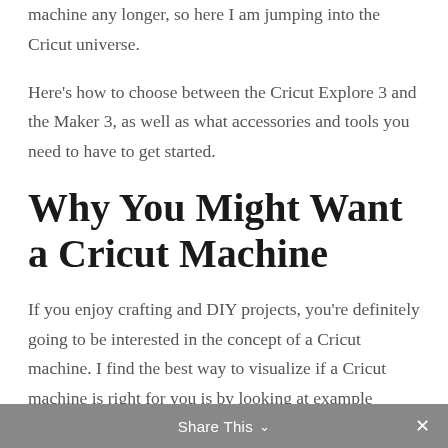machine any longer, so here I am jumping into the Cricut universe.
Here's how to choose between the Cricut Explore 3 and the Maker 3, as well as what accessories and tools you need to have to get started.
Why You Might Want a Cricut Machine
If you enjoy crafting and DIY projects, you're definitely going to be interested in the concept of a Cricut machine. I find the best way to visualize if a Cricut machine is right for you is by looking at example projects you can do!
Share This  ×